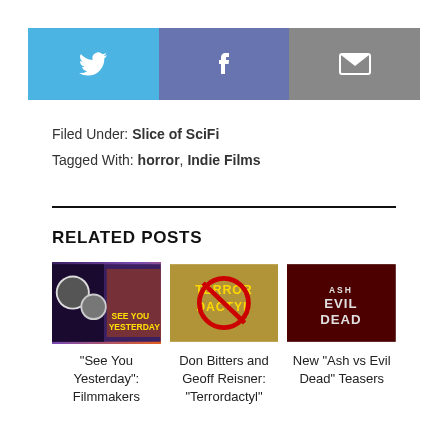[Figure (other): Social share buttons: Twitter (blue), Facebook (blue-purple), Email (gray)]
Filed Under: Slice of SciFi
Tagged With: horror, Indie Films
RELATED POSTS
[Figure (photo): Thumbnail for 'See You Yesterday' showing cast portraits and movie title text]
“See You Yesterday”: Filmmakers
[Figure (photo): Thumbnail for 'Terrordactyl' showing the movie title logo with dinosaur/no symbol]
Don Bitters and Geoff Reisner: “Terrordactyl”
[Figure (photo): Thumbnail for 'Ash vs Evil Dead' showing the show title logo on dark red background]
New “Ash vs Evil Dead” Teasers